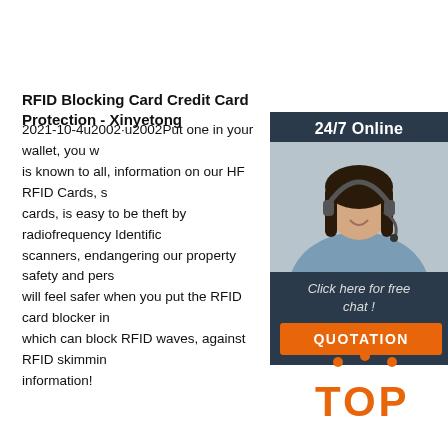RFID Blocking Card Credit Card Protection - Xinyetong
2021-10-4u2002·u2002Put one in your wallet, you will feel safer. As is known to all, information on our HF RFID Cards, such as bank cards, is easy to be theft by radiofrequency Identification (RFID) scanners, endangering our property safety and personal privacy. You will feel safer when you put the RFID card blocker in your wallet, which can block RFID waves, against RFID skimming and stealing information!
[Figure (photo): Customer service representative woman with headset, smiling, with 24/7 Online banner and chat widget]
Click here for free chat !
QUOTATION
Get Price
[Figure (logo): TOP logo with orange dots above orange bold text TOP]